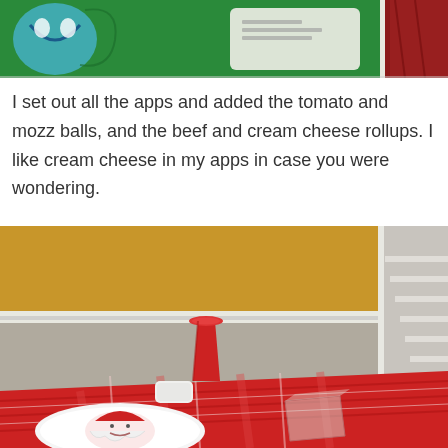[Figure (photo): Top portion of a photo showing a green box/packaging with colorful graphics including what appears to be a cartoon face and text, with red fabric visible on the right]
I set out all the apps and added the tomato and mozz balls, and the beef and cream cheese rollups. I like cream cheese in my apps in case you were wondering.
[Figure (photo): Photo of a table set with a red plaid tablecloth, a red plastic cup, a white plate with a Santa face design, a small white object (possibly a remote or phone), and a clear plastic container, with a yellow and gray wall with white wainscoting in the background and stairs visible on the right]